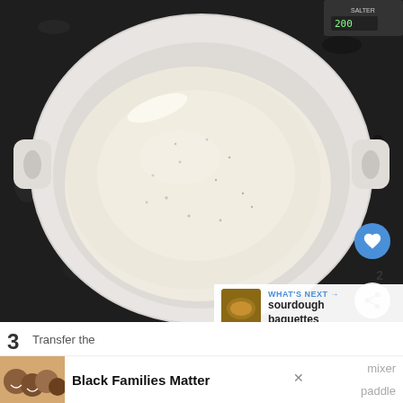[Figure (photo): Overhead view of a white ceramic mixing bowl with handles on a dark granite surface, sitting on a kitchen scale (Salter brand visible). The bowl contains a mound of light-colored flour or dough mixture. A blue heart/like button and a grey share button with count '2' are visible on the right side.]
WHAT'S NEXT → sourdough baguettes
3
Transfer the... mixer ... paddle
[Figure (photo): Advertisement showing a family photo of Black family members smiling, with text 'Black Families Matter']
Black Families Matter